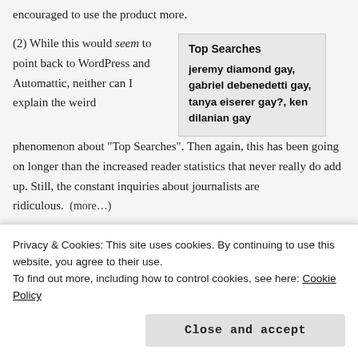encouraged to use the product more.
(2) While this would seem to point back to WordPress and Automattic, neither can I explain the weird phenomenon about “Top Searches”. Then again, this has been going on longer than the increased reader statistics that never really do add up. Still, the constant inquiries about journalists are ridiculous.  (more…)
[Figure (infographic): Sidebar box labeled 'Top Searches' with bold text listing: jeremy diamond gay, gabriel debenedetti gay, tanya eiserer gay?, ken dilanian gay]
Advertisements
[Figure (screenshot): Advertisement banner with blue background showing partial text 'S ON' and purple circular icons on the right]
Privacy & Cookies: This site uses cookies. By continuing to use this website, you agree to their use.
To find out more, including how to control cookies, see here: Cookie Policy
Close and accept